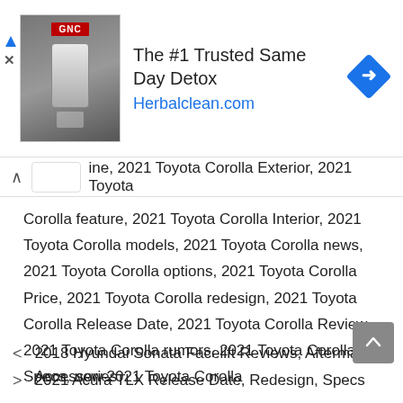[Figure (infographic): Advertisement banner: GNC store image on left, text 'The #1 Trusted Same Day Detox' and 'Herbalclean.com' in the middle, blue diamond arrow icon on right. Ad marker triangle and X close button on the left side.]
ine, 2021 Toyota Corolla Exterior, 2021 Toyota Corolla feature, 2021 Toyota Corolla Interior, 2021 Toyota Corolla models, 2021 Toyota Corolla news, 2021 Toyota Corolla options, 2021 Toyota Corolla Price, 2021 Toyota Corolla redesign, 2021 Toyota Corolla Release Date, 2021 Toyota Corolla Review, 2021 Toyota Corolla rumors, 2021 Toyota Corolla Specs, new 2021 Toyota Corolla
2018 Hyundai Sonata Facelift Reviews, Aftermarket, Accessories
2021 Acura TLX Release Date, Redesign, Specs